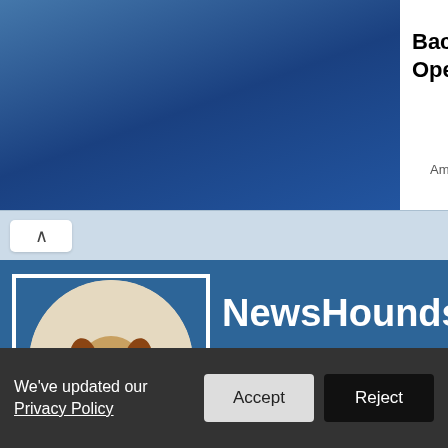[Figure (photo): Advertisement banner: photo of a family holding a solar panel on the left, with text 'Back Office Operations for DG' and 'Apply Now' button and 'Ampion Renweable Energy' subtext on the right]
Back Office Operations for DG
Apply Now
Ampion Renweable Energy
[Figure (screenshot): Collapse/accordion toggle button with upward chevron arrow on light blue bar]
[Figure (screenshot): NewsHounds website header banner with logo (beagle dog wearing glasses at laptop with coffee cup) in a circular frame on a blue background]
NewsHounds
We watch Fox so you don't ha
We've updated our Privacy Policy
Accept
Reject